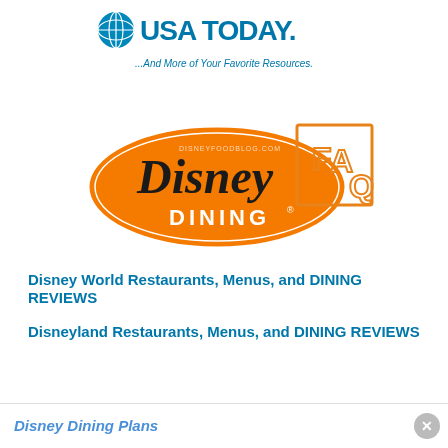[Figure (logo): USA TODAY logo with blue globe icon and text 'USA TODAY.' in bold blue, with tagline '...And More of Your Favorite Resources.' in italic blue below]
[Figure (logo): Disney Dining FAQ logo: orange oval with white border containing 'Disney' in black script and 'DINING' in white block letters, with 'FAQ' in large outlined letters on the right side, and small watermark text 'DISNEYFOODBLOG.COM']
Disney World Restaurants, Menus, and DINING REVIEWS
Disneyland Restaurants, Menus, and DINING REVIEWS
Disney Dining Plans